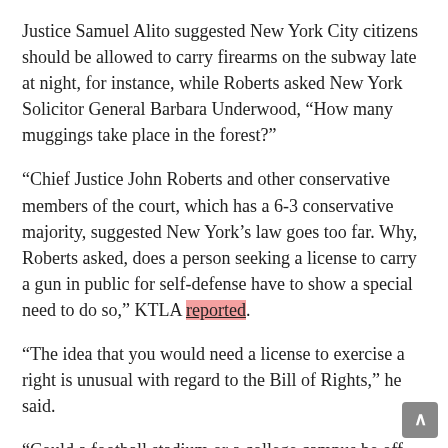Justice Samuel Alito suggested New York City citizens should be allowed to carry firearms on the subway late at night, for instance, while Roberts asked New York Solicitor General Barbara Underwood, “How many muggings take place in the forest?”
“Chief Justice John Roberts and other conservative members of the court, which has a 6-3 conservative majority, suggested New York’s law goes too far. Why, Roberts asked, does a person seeking a license to carry a gun in public for self-defense have to show a special need to do so,” KTLA reported.
“The idea that you would need a license to exercise a right is unusual with regard to the Bill of Rights,” he said.
“Could a football stadium or a college campus be off-limits? What sort of place do you think they could be excluded